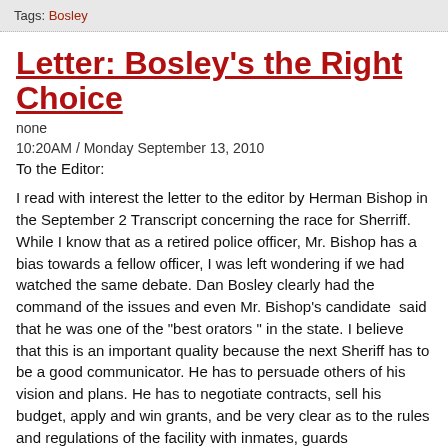Tags: Bosley
Letter: Bosley's the Right Choice
none
10:20AM / Monday September 13, 2010
To the Editor:
I read with interest the letter to the editor by Herman Bishop in the September 2 Transcript concerning the race for Sherriff. While I know that as a retired police officer, Mr. Bishop has a bias towards a fellow officer, I was left wondering if we had watched the same debate. Dan Bosley clearly had the command of the issues and even Mr. Bishop's candidate  said that he was one of the "best orators " in the state. I believe that this is an important quality because the next Sheriff has to be a good communicator. He has to persuade others of his vision and plans. He has to negotiate contracts, sell his budget, apply and win grants, and be very clear as to the rules and regulations of the facility with inmates, guards